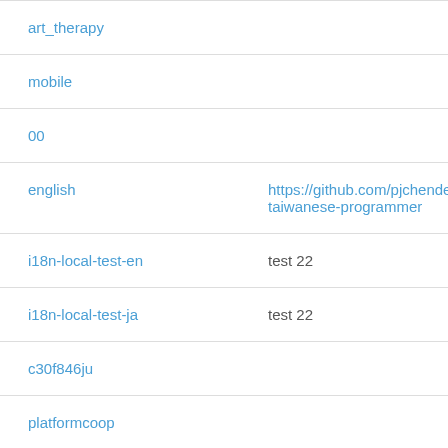art_therapy
mobile
00
english
i18n-local-test-en
i18n-local-test-ja
c30f846ju
platformcoop